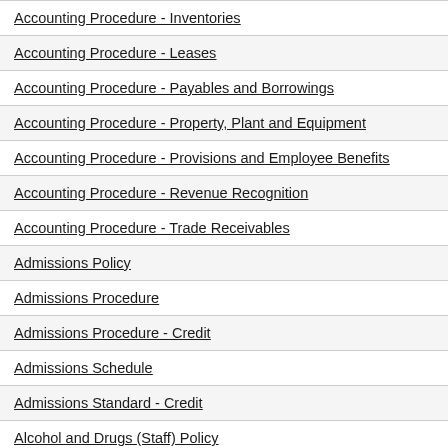Accounting Procedure - Inventories
Accounting Procedure - Leases
Accounting Procedure - Payables and Borrowings
Accounting Procedure - Property, Plant and Equipment
Accounting Procedure - Provisions and Employee Benefits
Accounting Procedure - Revenue Recognition
Accounting Procedure - Trade Receivables
Admissions Policy
Admissions Procedure
Admissions Procedure - Credit
Admissions Schedule
Admissions Standard - Credit
Alcohol and Drugs (Staff) Policy
Alcohol and Drugs (Students) Policy
Appeals Policy
Appointment of Distinguished Professors Policy